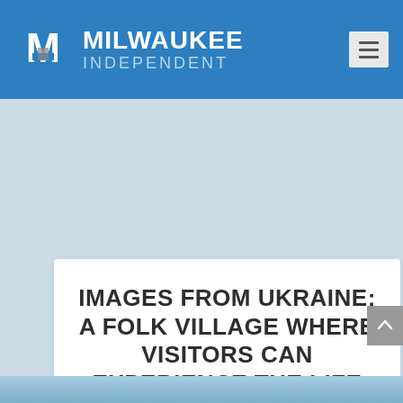MILWAUKEE INDEPENDENT
IMAGES FROM UKRAINE: A FOLK VILLAGE WHERE VISITORS CAN EXPERIENCE THE LIFE OF PAST GENERATIONS
Posted by Lee Matz | Jun 17, 2022 | Photos, Ukraine